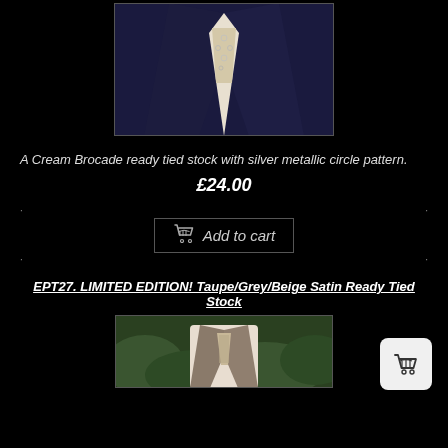[Figure (photo): Close-up photo of a dark navy suit jacket lapel with a cream brocade ready tied stock with silver metallic circle pattern.]
A Cream Brocade ready tied stock with silver metallic circle pattern.
£24.00
Add to cart
EPT27.  LIMITED EDITION!  Taupe/Grey/Beige Satin Ready Tied Stock
[Figure (photo): Photo of a person wearing a Taupe/Grey/Beige Satin Ready Tied Stock, shown outdoors with greenery in the background.]